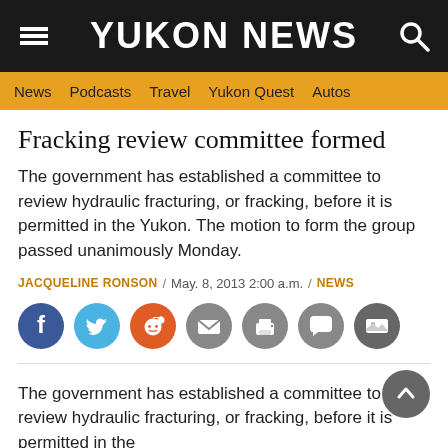YUKON NEWS
News  Podcasts  Travel  Yukon Quest  Autos
Fracking review committee formed
The government has established a committee to review hydraulic fracturing, or fracking, before it is permitted in the Yukon. The motion to form the group passed unanimously Monday.
JACQUELINE RONSON / May. 8, 2013 2:00 a.m. / NEWS
[Figure (infographic): Social media sharing icons: Facebook (blue), Twitter (light blue), Reddit (orange), Email (grey), Print (grey), Comment (grey), Image/gallery (dark grey)]
The government has established a committee to review hydraulic fracturing, or fracking, before it is permitted in the